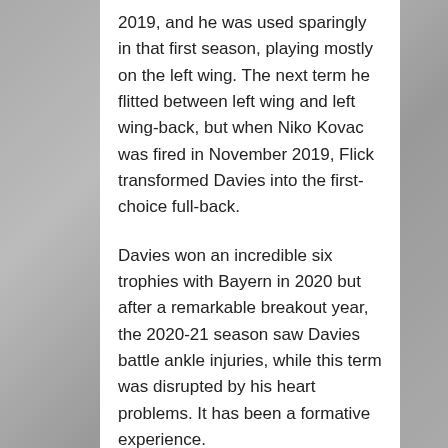2019, and he was used sparingly in that first season, playing mostly on the left wing. The next term he flitted between left wing and left wing-back, but when Niko Kovac was fired in November 2019, Flick transformed Davies into the first-choice full-back.
Davies won an incredible six trophies with Bayern in 2020 but after a remarkable breakout year, the 2020-21 season saw Davies battle ankle injuries, while this term was disrupted by his heart problems. It has been a formative experience.
“Injuries and poor performances are part of the game, but you can’t give up, you just have to keep fighting,” he says. “I know I have the